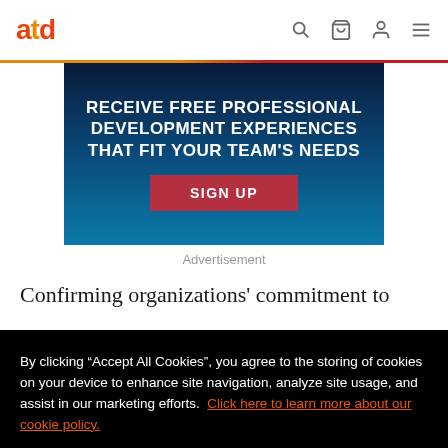atd
[Figure (other): ATD advertisement banner with dark blue gradient background showing text: RECEIVE FREE PROFESSIONAL DEVELOPMENT EXPERIENCES THAT FIT YOUR TEAM'S NEEDS with a SIGN UP button]
Advertisement
Confirming organizations' commitment to
By clicking “Accept All Cookies”, you agree to the storing of cookies on your device to enhance site navigation, analyze site usage, and assist in our marketing efforts. Click here to learn more about our cookie policy.